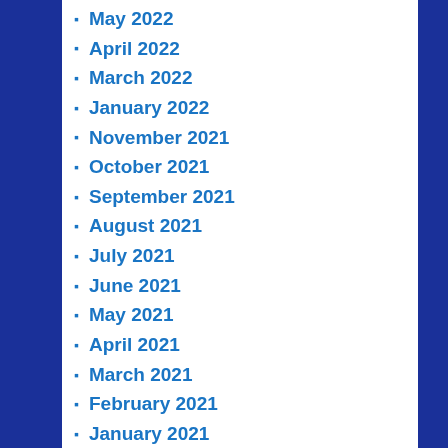May 2022
April 2022
March 2022
January 2022
November 2021
October 2021
September 2021
August 2021
July 2021
June 2021
May 2021
April 2021
March 2021
February 2021
January 2021
December 2020
November 2020
October 2020
September 2020
August 2020
July 2020